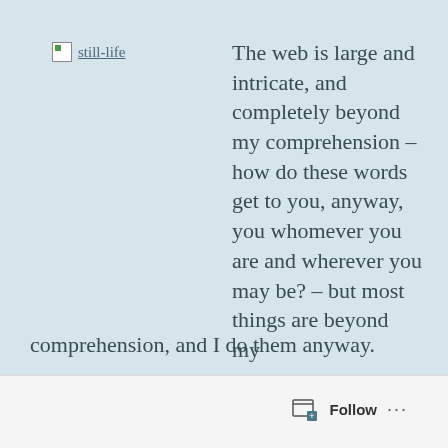[Figure (logo): still-life blog logo with small image icon and underlined text link]
The web is large and intricate, and completely beyond my comprehension – how do these words get to you, anyway, you whomever you are and wherever you may be? – but most things are beyond my comprehension, and I do them anyway.
Follow ...